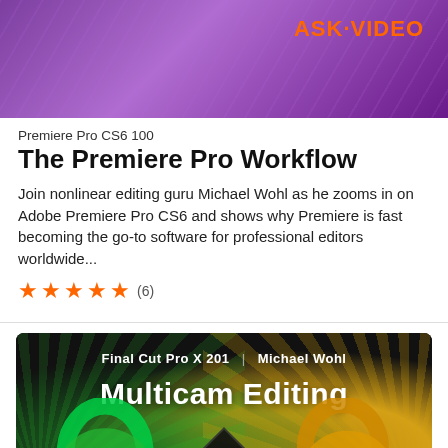[Figure (screenshot): Ask Video course thumbnail with purple gradient background and ASK·VIDEO logo in orange]
Premiere Pro CS6 100
The Premiere Pro Workflow
Join nonlinear editing guru Michael Wohl as he zooms in on Adobe Premiere Pro CS6 and shows why Premiere is fast becoming the go-to software for professional editors worldwide...
★★★★★ (6)
[Figure (screenshot): Final Cut Pro X 201 Multicam Editing course thumbnail with dark background, green and gold ray bursts, and 3D number art]